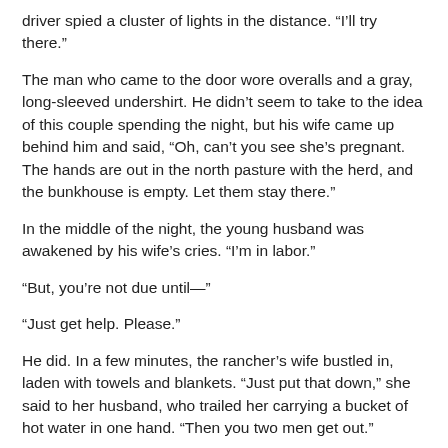driver spied a cluster of lights in the distance. “I’ll try there.”
The man who came to the door wore overalls and a gray, long-sleeved undershirt. He didn’t seem to take to the idea of this couple spending the night, but his wife came up behind him and said, “Oh, can’t you see she’s pregnant. The hands are out in the north pasture with the herd, and the bunkhouse is empty. Let them stay there.”
In the middle of the night, the young husband was awakened by his wife’s cries. “I’m in labor.”
“But, you’re not due until—”
“Just get help. Please.”
He did. In a few minutes, the rancher’s wife bustled in, laden with towels and blankets. “Just put that down,” she said to her husband, who trailed her carrying a bucket of hot water in one hand. “Then you two men get out.”
Soon, the men tired of waiting outside and the rancher grudgingly invited the stranger into the kitchen. They’d almost exhausted a pot of extra strong coffee when they heard a faint cry. Then, “You men can come…”